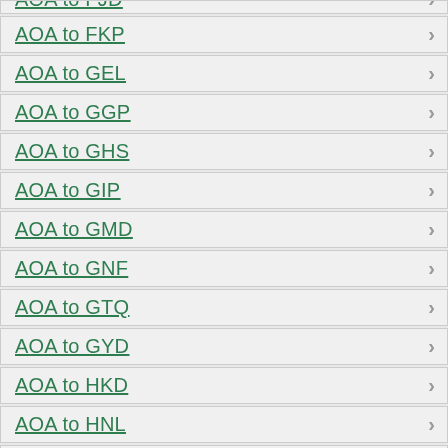AOA to FJD
AOA to FKP
AOA to GEL
AOA to GGP
AOA to GHS
AOA to GIP
AOA to GMD
AOA to GNF
AOA to GTQ
AOA to GYD
AOA to HKD
AOA to HNL
AOA to HRK